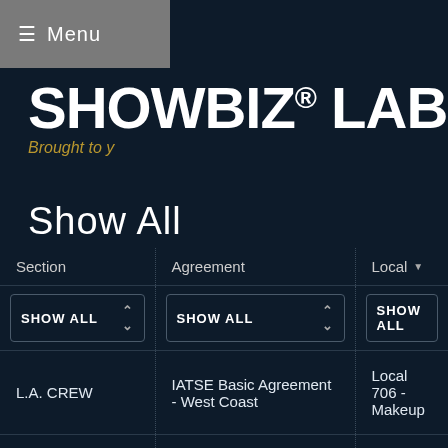≡ Menu
SHOWBIZ® LABO
Brought to y
Show All
| Section | Agreement | Local ▼ |
| --- | --- | --- |
| SHOW ALL | SHOW ALL | SHOW ALL |
| L.A. CREW | IATSE Basic Agreement - West Coast | Local 706 - Makeup |
| L.A. CREW | IATSE Basic Agreement - West Coast | Local 706 - Makeup |
| L.A. CREW | IATSE Basic Agreement - West Coast | Local 706 - Makeup |